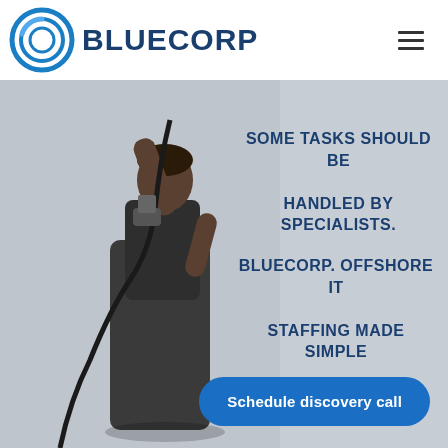[Figure (logo): Bluecorp logo: concentric blue circles icon on the left, bold navy blue text BLUECORP on the right]
[Figure (photo): Black and white vintage photograph of a male worker in overalls holding a rope or cable overhead, standing against a light background]
SOME TASKS SHOULD BE HANDLED BY SPECIALISTS.
BLUECORP. OFFSHORE IT STAFFING MADE SIMPLE
Schedule discovery call